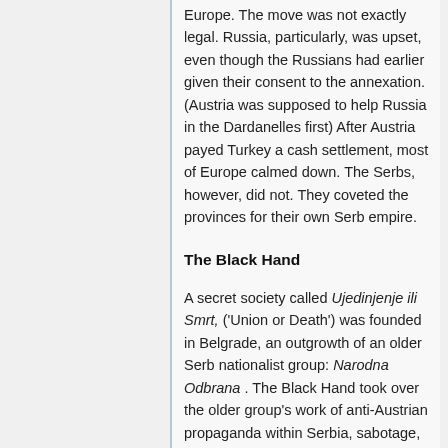Europe. The move was not exactly legal. Russia, particularly, was upset, even though the Russians had earlier given their consent to the annexation. (Austria was supposed to help Russia in the Dardanelles first) After Austria payed Turkey a cash settlement, most of Europe calmed down. The Serbs, however, did not. They coveted the provinces for their own Serb empire.
The Black Hand
A secret society called Ujedinjenje ili Smrt, ('Union or Death') was founded in Belgrade, an outgrowth of an older Serb nationalist group: Narodna Odbrana . The Black Hand took over the older group's work of anti-Austrian propaganda within Serbia, sabotage,